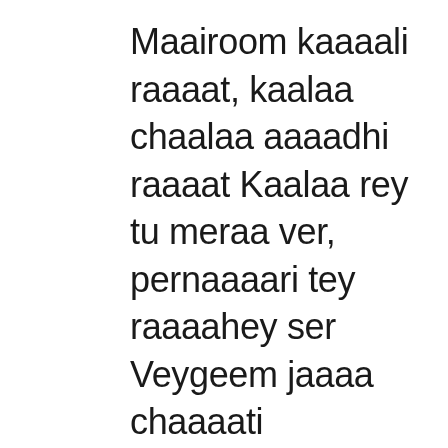Maairoom kaaaali raaaat, kaalaa chaalaa aaaadhi raaaat Kaalaa rey tu meraa ver, pernaaaari tey raaaahey ser Veygeem jaaaa chaaaati dhaarlyaaaav, suti hoyaae tom jaagaaey lyaaaav Shaabd saanchaa pind kaaaachaa, phuro